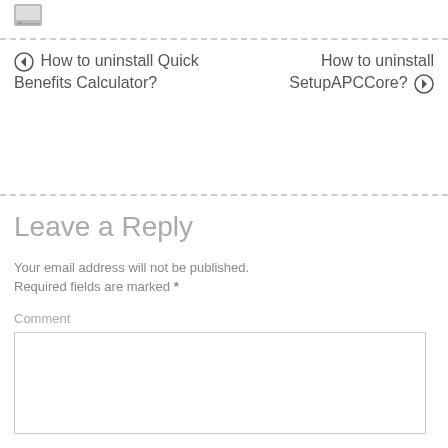[Figure (other): Small icon image at top left]
← How to uninstall Quick Benefits Calculator?
How to uninstall SetupAPCCore? →
Leave a Reply
Your email address will not be published. Required fields are marked *
Comment